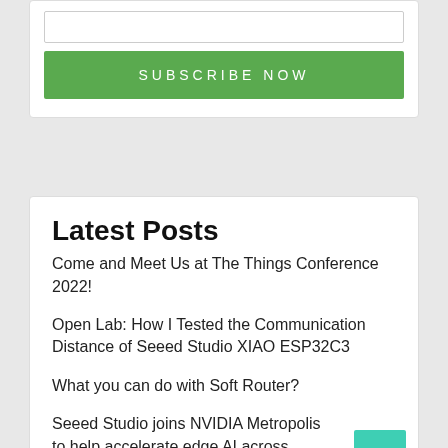[Figure (screenshot): White input field (text box) partially visible at top of subscribe card]
SUBSCRIBE NOW
Latest Posts
Come and Meet Us at The Things Conference 2022!
Open Lab: How I Tested the Communication Distance of Seeed Studio XIAO ESP32C3
What you can do with Soft Router?
Seeed Studio joins NVIDIA Metropolis to help accelerate edge AI across industries